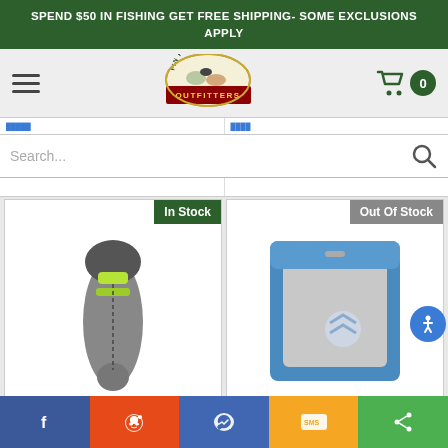SPEND $50 IN FISHING GET FREE SHIPPING- SOME EXCLUSIONS APPLY
[Figure (logo): Fin Feather Fur Outfitters logo — circular badge with wildlife imagery]
Search...
In Stock
[Figure (photo): Grey and lime green mummy-style sleeping bag standing upright]
Out Of Stock
[Figure (photo): Blue and grey rectangular sleeping bag partially unzipped]
Facebook | Reddit | Messenger | SMS | Share